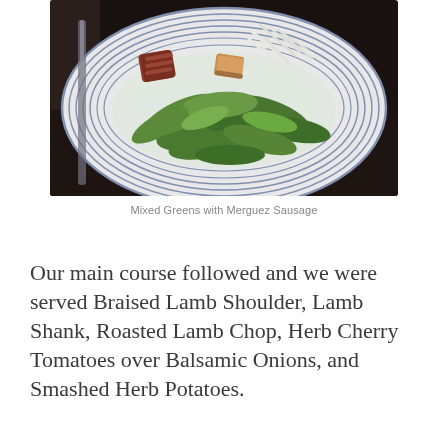[Figure (photo): A blue and white striped plate with a salad of mixed greens, arugula, merguez sausage pieces, croutons, shredded cheese, and dressing.]
Mixed Greens with Merguez Sausage
Our main course followed and we were served Braised Lamb Shoulder, Lamb Shank, Roasted Lamb Chop, Herb Cherry Tomatoes over Balsamic Onions, and Smashed Herb Potatoes.